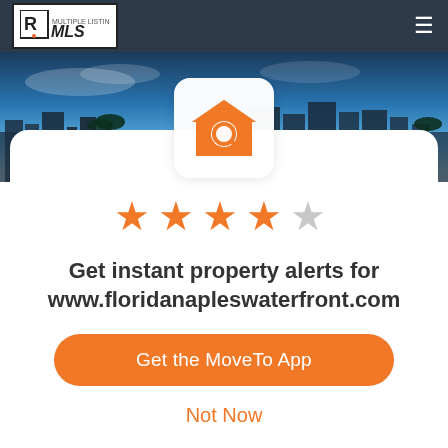[Figure (logo): REALTOR MLS logo in white box on dark navy navigation bar with hamburger menu icon on right]
[Figure (photo): Hero banner showing waterfront property skyline at dusk/sunset with blue sky and palm trees]
[Figure (illustration): Orange house with magnifying glass search icon on white rounded square card]
[Figure (infographic): 4.5 star rating shown as 4 filled orange stars and 1 empty/gray star]
Get instant property alerts for www.floridanapleswaterfront.com
Get the MoveTo App
Not Now